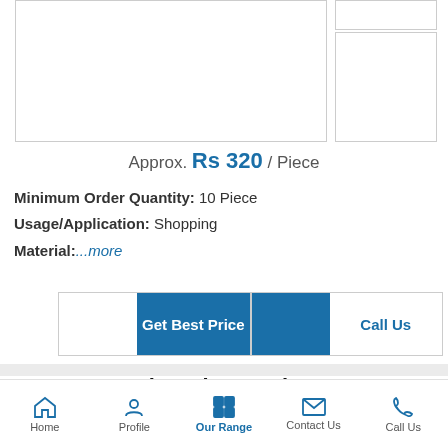[Figure (photo): Product image placeholder (white box with border)]
[Figure (photo): Small thumbnail image placeholder]
Approx. Rs 320 / Piece
Minimum Order Quantity: 10 Piece
Usage/Application: Shopping
Material:...more
Get Best Price
Call Us
Shopping Basket
Home | Profile | Our Range | Contact Us | Call Us